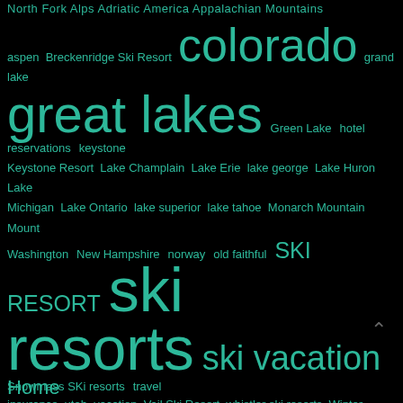[Figure (infographic): Tag cloud on black background with teal/green colored tags of varying sizes related to travel, ski resorts, lakes, and national parks. Tags include: colorado, great lakes, ski resorts, ski vacation, SKI RESORT, and many others at smaller sizes.]
Home